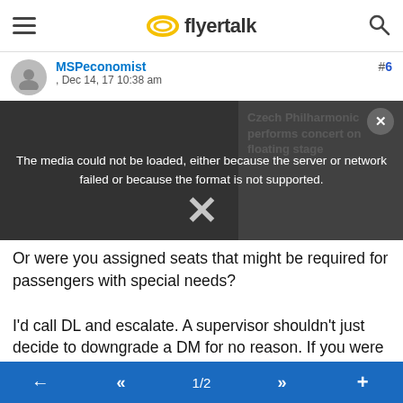flyertalk navigation bar
#6
MSPeconomist , Dec 14, 17 10:38 am
[Figure (screenshot): Embedded video player showing Czech Philharmonic performs concert on floating stage, with media error overlay: 'The media could not be loaded, either because the server or network failed or because the format is not supported.']
Or were you assigned seats that might be required for passengers with special needs?

I'd call DL and escalate. A supervisor shouldn't just decide to downgrade a DM for no reason. If you were watching the upgrades clear and remember the seats you were assigned when you were automatically, do you have any sense whether yours were the last upgrades on the segments in question?
← « 1/2 » +